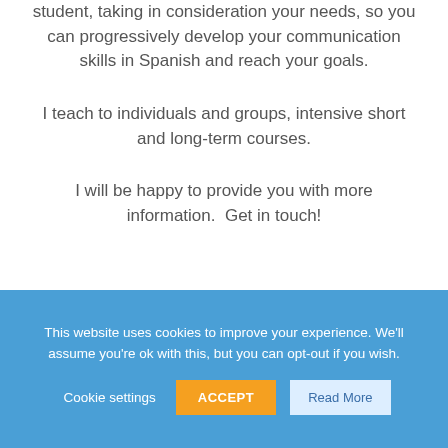student, taking in consideration your needs, so you can progressively develop your communication skills in Spanish and reach your goals.
I teach to individuals and groups, intensive short and long-term courses.
I will be happy to provide you with more information. Get in touch!
This website uses cookies to improve your experience. We'll assume you're ok with this, but you can opt-out if you wish.